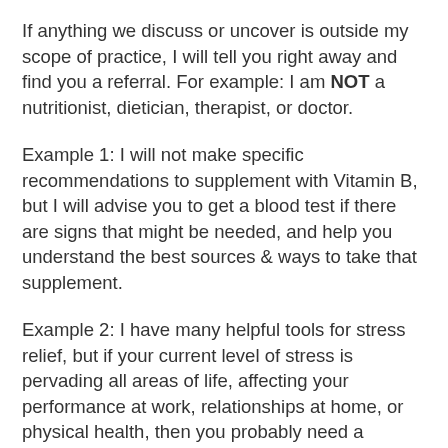If anything we discuss or uncover is outside my scope of practice, I will tell you right away and find you a referral. For example: I am NOT a nutritionist, dietician, therapist, or doctor.
Example 1: I will not make specific recommendations to supplement with Vitamin B, but I will advise you to get a blood test if there are signs that might be needed, and help you understand the best sources & ways to take that supplement.
Example 2: I have many helpful tools for stress relief, but if your current level of stress is pervading all areas of life, affecting your performance at work, relationships at home, or physical health, then you probably need a therapist or doctor, so I would refer